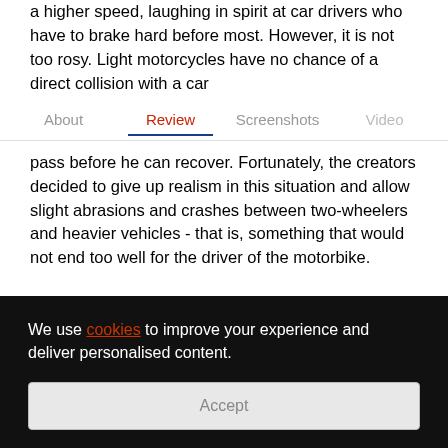a higher speed, laughing in spirit at car drivers who have to brake hard before most. However, it is not too rosy. Light motorcycles have no chance of a direct collision with a car
About   Review   Screenshots   Video
pass before he can recover. Fortunately, the creators decided to give up realism in this situation and allow slight abrasions and crashes between two-wheelers and heavier vehicles - that is, something that would not end too well for the driver of the motorbike.
At this point, it is worth mentioning a few words about awarding Kudos points. In general, it is the same as for cars, but motorcyclists get additional options. They can get Kudos for driving with a trading on the front wheel...
We use cookies to improve your experience and deliver personalised content.